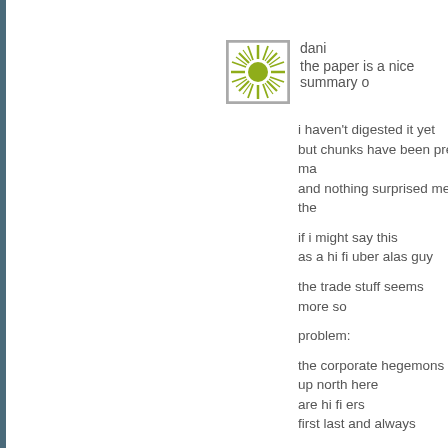[Figure (illustration): Green sunburst avatar icon with circular center on white background, square with gray border]
dani
the paper is a nice summary o
i haven't digested it yet
but chunks have been pre ma
and nothing surprised me the

if i might say this
as a hi fi uber alas guy

the trade stuff seems more so

problem:

the corporate hegemons
up north here
are hi fi ers
first last and always

case today

paulson in the PRC

I HATE TO THINK
BUT I BELIEVE
THE LEVER